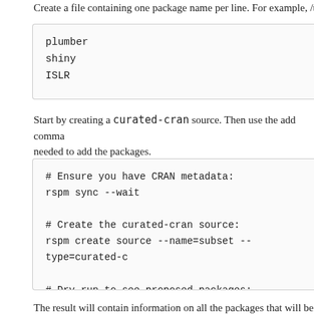Create a file containing one package name per line. For example, /t...
plumber
shiny
ISLR
Start by creating a curated-cran source. Then use the add comma... needed to add the packages.
# Ensure you have CRAN metadata:
rspm sync --wait

# Create the curated-cran source:
rspm create source --name=subset --type=curated-c...

# Dry run to see proposed packages:
rspm add --file-in='/tmp/packages.csv' --source=s...
The result will contain information on all the packages that will be add... saved to a csv file using the csv-out flag. The required dependenc...